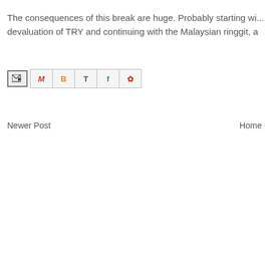The consequences of this break are huge. Probably starting with the devaluation of TRY and continuing with the Malaysian ringgit, a
[Figure (other): Share/email buttons row: email forward icon button, then social sharing icons for Gmail (M), Blogger (B), Twitter (T), Facebook (f), Pinterest (P)]
Newer Post
Home